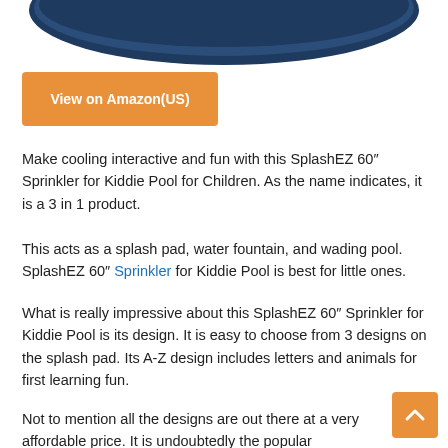[Figure (photo): Partial view of a dark blue SplashEZ kiddie pool/splash pad product, cropped at the top of the page]
View on Amazon(US)
Make cooling interactive and fun with this SplashEZ 60″ Sprinkler for Kiddie Pool for Children. As the name indicates, it is a 3 in 1 product.
This acts as a splash pad, water fountain, and wading pool. SplashEZ 60″ Sprinkler for Kiddie Pool is best for little ones.
What is really impressive about this SplashEZ 60″ Sprinkler for Kiddie Pool is its design. It is easy to choose from 3 designs on the splash pad. Its A-Z design includes letters and animals for first learning fun.
Not to mention all the designs are out there at a very affordable price. It is undoubtedly the popular sprinkler toy for kids.